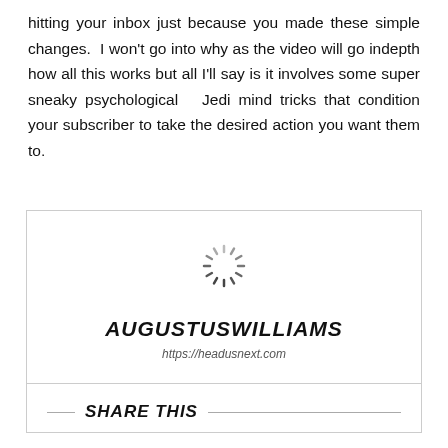hitting your inbox just because you made these simple changes.  I won't go into why as the video will go indepth how all this works but all I'll say is it involves some super sneaky psychological   Jedi mind tricks that condition your subscriber to take the desired action you want them to.
[Figure (other): Author card with loading spinner icon, author name AUGUSTUSWILLIAMS in bold italic, and URL https://headusnext.com]
SHARE THIS